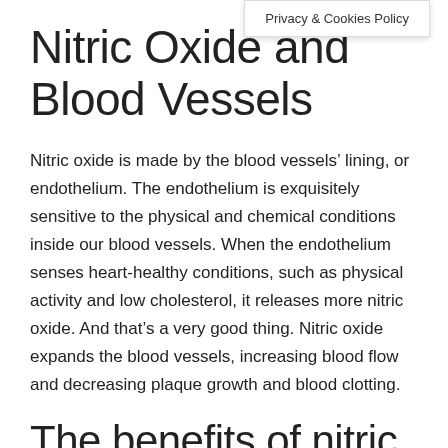Privacy & Cookies Policy
Nitric Oxide and Blood Vessels
Nitric oxide is made by the blood vessels’ lining, or endothelium. The endothelium is exquisitely sensitive to the physical and chemical conditions inside our blood vessels. When the endothelium senses heart-healthy conditions, such as physical activity and low cholesterol, it releases more nitric oxide. And that’s a very good thing. Nitric oxide expands the blood vessels, increasing blood flow and decreasing plaque growth and blood clotting.
The benefits of nitric oxide